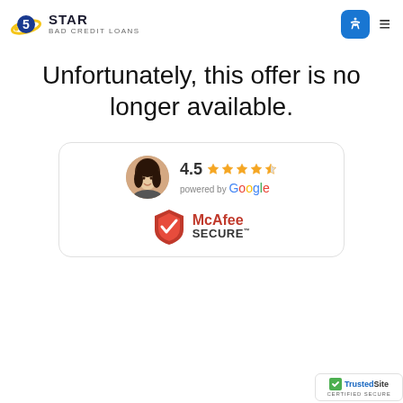5 STAR BAD CREDIT LOANS
Unfortunately, this offer is no longer available.
[Figure (other): Review card showing 4.5 star rating powered by Google, and McAfee SECURE logo. Circular avatar photo of a woman with dark hair.]
[Figure (logo): TrustedSite Certified Secure badge in bottom right corner]